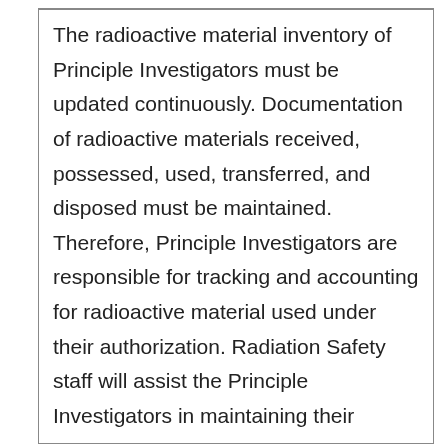The radioactive material inventory of Principle Investigators must be updated continuously. Documentation of radioactive materials received, possessed, used, transferred, and disposed must be maintained. Therefore, Principle Investigators are responsible for tracking and accounting for radioactive material used under their authorization. Radiation Safety staff will assist the Principle Investigators in maintaining their inventory by distributing inventory verification reports at least every six months and issuing a Radioactive Material Usage and Disposal Record (Form 160) for all new radioactive material purchased under the Principle Investigators Radiation Use Authorization. It is essential that the